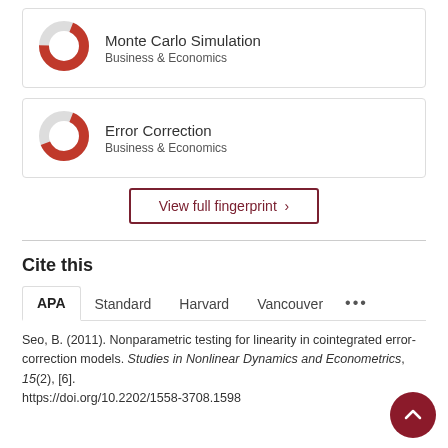[Figure (donut-chart): Donut chart icon for Monte Carlo Simulation, partially filled in red]
Monte Carlo Simulation
Business & Economics
[Figure (donut-chart): Donut chart icon for Error Correction, partially filled in red]
Error Correction
Business & Economics
View full fingerprint >
Cite this
APA   Standard   Harvard   Vancouver   ...
Seo, B. (2011). Nonparametric testing for linearity in cointegrated error-correction models. Studies in Nonlinear Dynamics and Econometrics, 15(2), [6]. https://doi.org/10.2202/1558-3708.1598